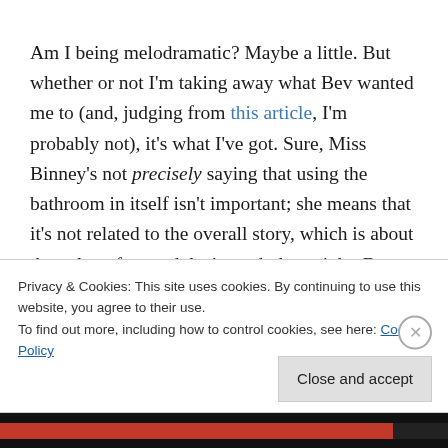Am I being melodramatic? Maybe a little. But whether or not I'm taking away what Bev wanted me to (and, judging from this article, I'm probably not), it's what I've got. Sure, Miss Binney's not precisely saying that using the bathroom in itself isn't important; she means that it's not related to the overall story, which is about the value of a good day's work done right. But, even setting aside the implication that access to a bathroom and the necessary breaks to
Privacy & Cookies: This site uses cookies. By continuing to use this website, you agree to their use.
To find out more, including how to control cookies, see here: Cookie Policy
Close and accept